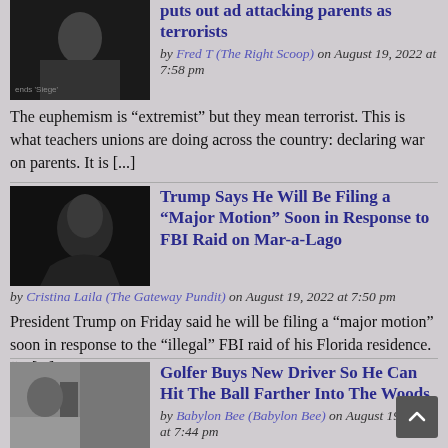puts out ad attacking parents as terrorists
by Fred T (The Right Scoop) on August 19, 2022 at 7:58 pm
The euphemism is “extremist” but they mean terrorist. This is what teachers unions are doing across the country: declaring war on parents. It is [...]
[Figure (photo): Thumbnail image for first article]
Trump Says He Will Be Filing a “Major Motion” Soon in Response to FBI Raid on Mar-a-Lago
by Cristina Laila (The Gateway Pundit) on August 19, 2022 at 7:50 pm
President Trump on Friday said he will be filing a “major motion” soon in response to the “illegal” FBI raid of his Florida residence. “A [...]
[Figure (photo): Thumbnail image of Trump for second article]
Golfer Buys New Driver So He Can Hit The Ball Farther Into The Woods
by Babylon Bee (Babylon Bee) on August 19, 2022 at 7:44 pm
[Figure (photo): Thumbnail image for Golfer article]